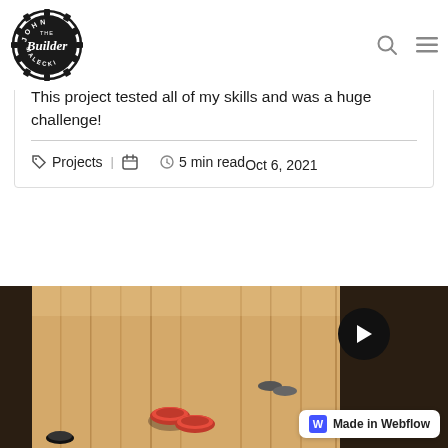[Figure (logo): John the Builder Malecki circular gear logo in black and white]
5 Min vs. 30 Min vs. 5 Hour – Box Build
This project tested all of my skills and was a huge challenge!
Projects | Oct 6, 2021   5 min read
[Figure (photo): Close-up photo of a wooden shuffleboard table surface showing the playing surface and pucks, with a play button overlay and Made in Webflow badge]